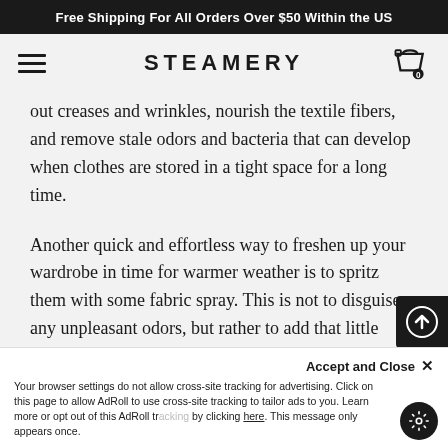Free Shipping For All Orders Over $50 Within the US
STEAMERY
out creases and wrinkles, nourish the textile fibers, and remove stale odors and bacteria that can develop when clothes are stored in a tight space for a long time.
Another quick and effortless way to freshen up your wardrobe in time for warmer weather is to spritz them with some fabric spray. This is not to disguise any unpleasant odors, but rather to add that little extra touch of freshness in addition to steaming. If you feel like your garments could
Accept and Close ✕
Your browser settings do not allow cross-site tracking for advertising. Click on this page to allow AdRoll to use cross-site tracking to tailor ads to you. Learn more or opt out of this AdRoll tracking by clicking here. This message only appears once.